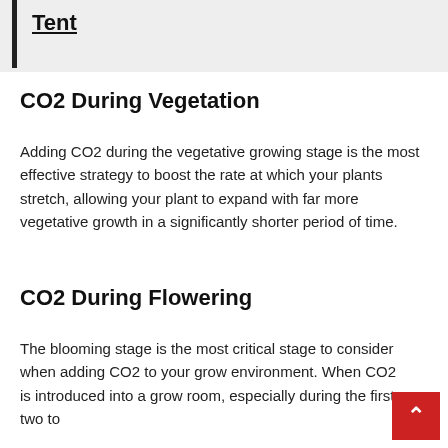Tent
CO2 During Vegetation
Adding CO2 during the vegetative growing stage is the most effective strategy to boost the rate at which your plants stretch, allowing your plant to expand with far more vegetative growth in a significantly shorter period of time.
CO2 During Flowering
The blooming stage is the most critical stage to consider when adding CO2 to your grow environment. When CO2 is introduced into a grow room, especially during the first two to